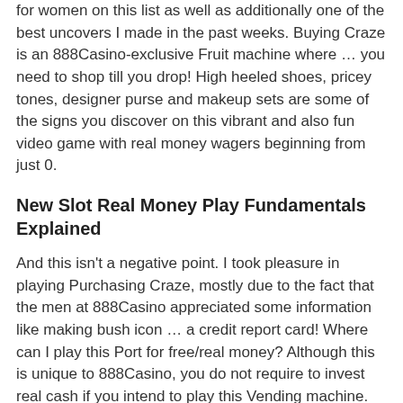for women on this list as well as additionally one of the best uncovers I made in the past weeks. Buying Craze is an 888Casino-exclusive Fruit machine where … you need to shop till you drop! High heeled shoes, pricey tones, designer purse and makeup sets are some of the signs you discover on this vibrant and also fun video game with real money wagers beginning from just 0.
New Slot Real Money Play Fundamentals Explained
And this isn't a negative point. I took pleasure in playing Purchasing Craze, mostly due to the fact that the men at 888Casino appreciated some information like making bush icon … a credit report card! Where can I play this Port for free/real money? Although this is unique to 888Casino, you do not require to invest real cash if you intend to play this Vending machine.